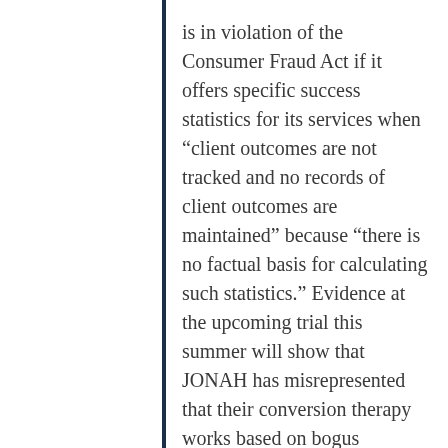is in violation of the Consumer Fraud Act if it offers specific success statistics for its services when “client outcomes are not tracked and no records of client outcomes are maintained” because “there is no factual basis for calculating such statistics.” Evidence at the upcoming trial this summer will show that JONAH has misrepresented that their conversion therapy works based on bogus statistics.
Conversion therapy, also called reparative therapy, is rejected by all major American medical,